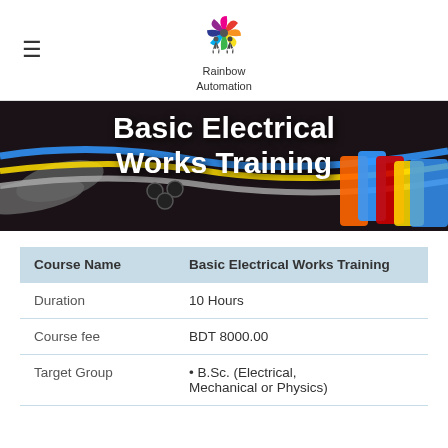Rainbow Automation
Basic Electrical Works Training
| Course Name | Basic Electrical Works Training |
| --- | --- |
| Duration | 10 Hours |
| Course fee | BDT 8000.00 |
| Target Group | • B.Sc. (Electrical, Mechanical or Physics) |